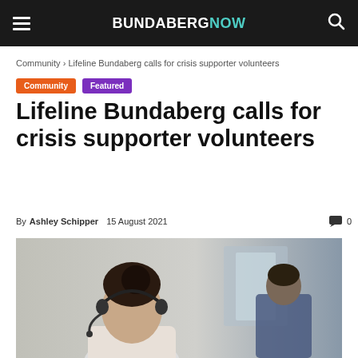BUNDABERGNOW
Community › Lifeline Bundaberg calls for crisis supporter volunteers
Community  Featured
Lifeline Bundaberg calls for crisis supporter volunteers
By Ashley Schipper  15 August 2021   0
[Figure (photo): Photo of a person wearing a headset, apparently working as a crisis support volunteer, with another person visible in the background]